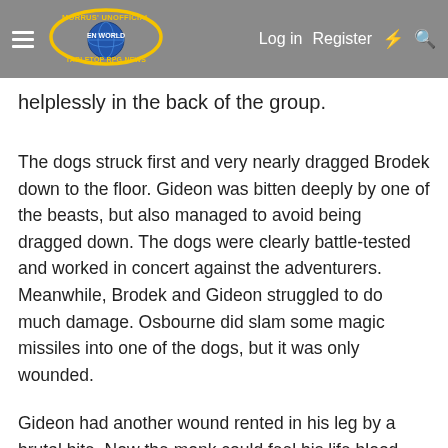Morrus' Unofficial Tabletop RPG News — Log in  Register
helplessly in the back of the group.
The dogs struck first and very nearly dragged Brodek down to the floor. Gideon was bitten deeply by one of the beasts, but also managed to avoid being dragged down. The dogs were clearly battle-tested and worked in concert against the adventurers. Meanwhile, Brodek and Gideon struggled to do much damage. Osbourne did slam some magic missiles into one of the dogs, but it was only wounded.
Gideon had another wound rented in his leg by a brutal bite. Now the monk could feel his life blood slipping away from him. Brodek smashed the skulls of one of the dogs and Osbourne jumped forward in the fray, while Gideon fell back. The melee was tense and the dwarf was tripped at one